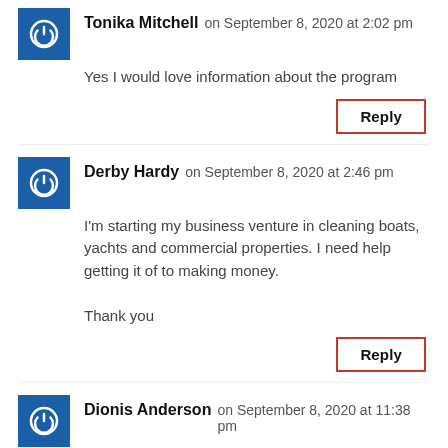Tonika Mitchell on September 8, 2020 at 2:02 pm
Yes I would love information about the program
Reply
Derby Hardy on September 8, 2020 at 2:46 pm
I'm starting my business venture in cleaning boats, yachts and commercial properties. I need help getting it of to making money.

Thank you
Reply
Dionis Anderson on September 8, 2020 at 11:38 pm
I'm so happy I went ahead to take this on faith... I want this so bad, its ridiculous. I'm reading and